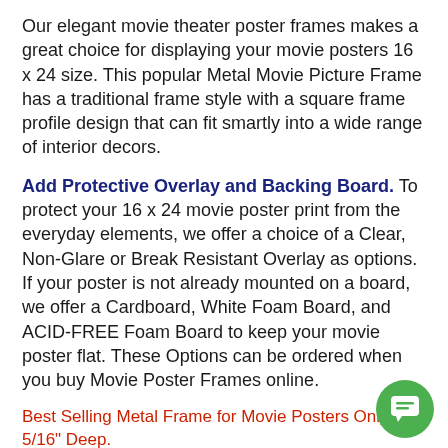Our elegant movie theater poster frames makes a great choice for displaying your movie posters 16 x 24 size. This popular Metal Movie Picture Frame has a traditional frame style with a square frame profile design that can fit smartly into a wide range of interior decors.
Add Protective Overlay and Backing Board. To protect your 16 x 24 movie poster print from the everyday elements, we offer a choice of a Clear, Non-Glare or Break Resistant Overlay as options. If your poster is not already mounted on a board, we offer a Cardboard, White Foam Board, and ACID-FREE Foam Board to keep your movie poster flat. These Options can be ordered when you buy Movie Poster Frames online.
Best Selling Metal Frame for Movie Posters Only 1 5/16" Deep.
Elegant Square Metal Face Profile 7/16" Wide
The custom metal picture frame profile #117 with its square 7/16" wide face is only 1 5/16" deep and is an ideal indoor poster picture frame to showcase your Hollywood movie poster prints, as well as other prints, graphics, signs, posters and photography.